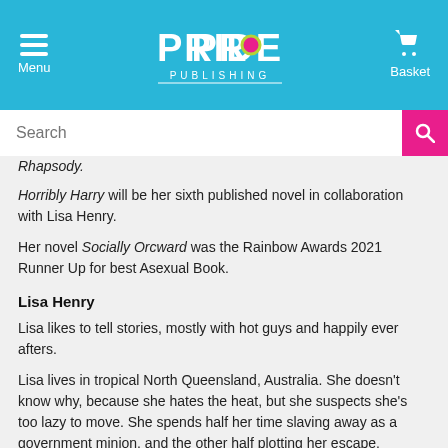Menu | PRIDE PUBLISHING | Basket
Search
...ng Rhapsody.
Horribly Harry will be her sixth published novel in collaboration with Lisa Henry.
Her novel Socially Orcward was the Rainbow Awards 2021 Runner Up for best Asexual Book.
Lisa Henry
Lisa likes to tell stories, mostly with hot guys and happily ever afters.
Lisa lives in tropical North Queensland, Australia. She doesn't know why, because she hates the heat, but she suspects she's too lazy to move. She spends half her time slaving away as a government minion, and the other half plotting her escape.
She attended university at sixteen, not because she was a...